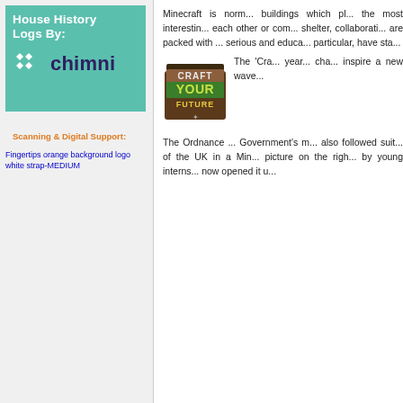[Figure (logo): House History Logs By: chimni logo on teal/green background]
Scanning & Digital Support:
[Figure (logo): Fingertips orange background logo white strap-MEDIUM]
Minecraft is normally associated with buildings which players construct but some of the most interesting uses are to explore each other or comment on the need for shelter, collaboration and creativity. Games are packed with many themes from the serious and educational to the fanciful. In particular, have st...
[Figure (logo): Craft Your Future logo]
The 'Cra... year... cha... inspire a new wave...
The Ordnance ... Government's m... also followed suit... of the UK in a Min... picture on the righ... by young interns... now opened it u...